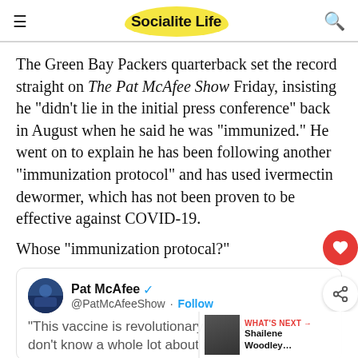Socialite Life
The Green Bay Packers quarterback set the record straight on The Pat McAfee Show Friday, insisting he “didn’t lie in the initial press conference” back in August when he said he was “immunized.” He went on to explain he has been following another “immunization protocol” and has used ivermectin dewormer, which has not been proven to be effective against COVID-19.
Whose “immunization protocal?”
[Figure (screenshot): Tweet from Pat McAfee (@PatMcAfeeShow) with verified badge and Follow button. Tweet body begins: "This vaccine is revolutionary however we don't know a whole lot about it. For the..."]